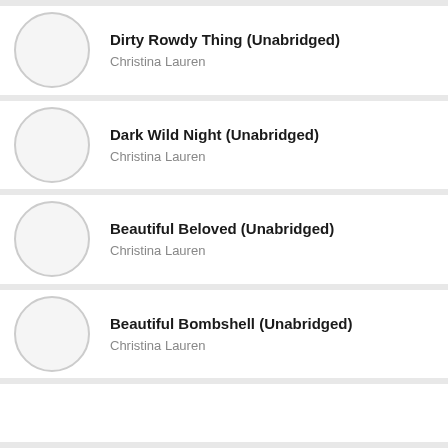Dirty Rowdy Thing (Unabridged)
Christina Lauren
Dark Wild Night (Unabridged)
Christina Lauren
Beautiful Beloved (Unabridged)
Christina Lauren
Beautiful Bombshell (Unabridged)
Christina Lauren